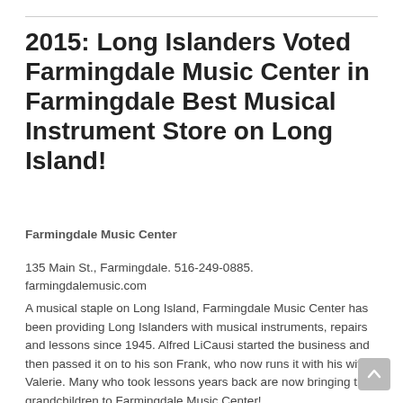2015: Long Islanders Voted Farmingdale Music Center in Farmingdale Best Musical Instrument Store on Long Island!
Farmingdale Music Center
135 Main St., Farmingdale. 516-249-0885. farmingdalemusic.com
A musical staple on Long Island, Farmingdale Music Center has been providing Long Islanders with musical instruments, repairs and lessons since 1945. Alfred LiCausi started the business and then passed it on to his son Frank, who now runs it with his wife Valerie. Many who took lessons years back are now bringing their grandchildren to Farmingdale Music Center!